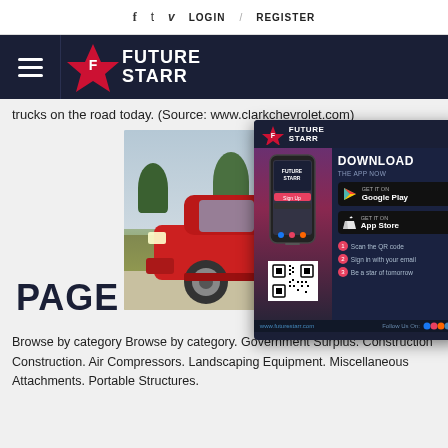f  t  v  LOGIN  /  REGISTER
[Figure (logo): Future Starr logo with hamburger menu on dark navy header bar]
trucks on the road today. (Source: www.clarkchevrolet.com)
PAGE
[Figure (photo): Red pickup truck (Toyota Hilux Surf / 4Runner style) parked on a driveway with trees and sky in background]
[Figure (infographic): Future Starr app download popup ad with phone mockup, Google Play and App Store buttons, QR code, and steps to get started]
Browse by category Browse by category. Government Surplus. Construction Construction. Air Compressors. Landscaping Equipment. Miscellaneous Attachments. Portable Structures.